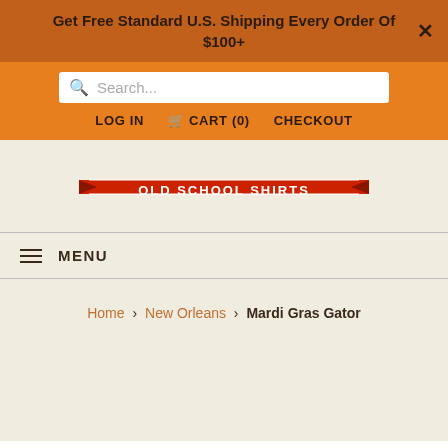Get Free Standard U.S. Shipping Every Order Of $100+
Search...
LOG IN   CART (0)   CHECKOUT
[Figure (logo): Old School Shirts logo banner with red and white text on a red stripe with decorative ends]
≡ MENU
Home > New Orleans > Mardi Gras Gator